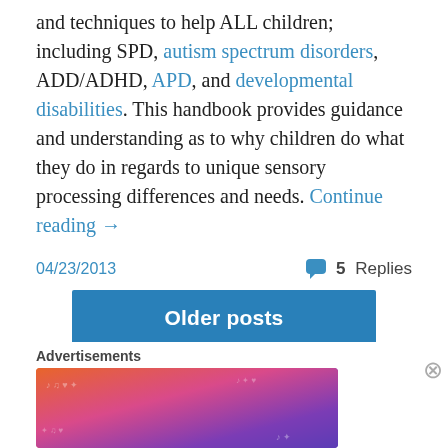and techniques to help ALL children; including SPD, autism spectrum disorders, ADD/ADHD, APD, and developmental disabilities. This handbook provides guidance and understanding as to why children do what they do in regards to unique sensory processing differences and needs. Continue reading →
04/23/2013    💬 5 Replies
Older posts
Advertisements
[Figure (screenshot): Dark advertisement banner (partially visible)]
Advertisements
[Figure (illustration): Fandom on Tumblr colorful advertisement banner with orange, pink, and purple gradient background]